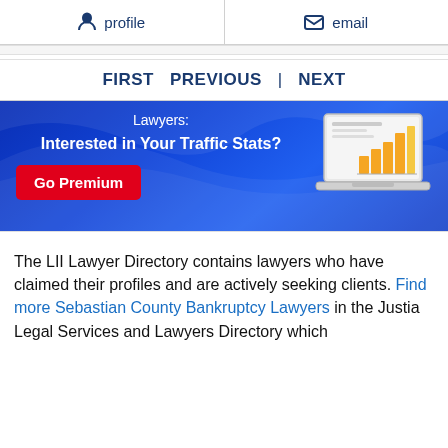profile | email
FIRST   PREVIOUS   |   NEXT
[Figure (infographic): Blue gradient advertisement banner with text 'Lawyers: Interested in Your Traffic Stats?' and a red 'Go Premium' button, alongside a laptop illustration showing a bar chart with orange/yellow bars.]
The LII Lawyer Directory contains lawyers who have claimed their profiles and are actively seeking clients. Find more Sebastian County Bankruptcy Lawyers in the Justia Legal Services and Lawyers Directory which